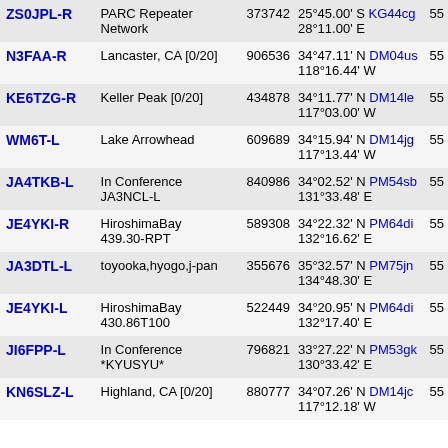| Callsign | Location | Node | Coordinates/Grid |  |
| --- | --- | --- | --- | --- |
| ZS0JPL-R | PARC Repeater Network | 373742 | 25°45.00' S KG44cg 28°11.00' E | 55 |
| N3FAA-R | Lancaster, CA [0/20] | 906536 | 34°47.11' N DM04us 118°16.44' W | 55 |
| KE6TZG-R | Keller Peak [0/20] | 434878 | 34°11.77' N DM14le 117°03.00' W | 55 |
| WM6T-L | Lake Arrowhead | 609689 | 34°15.94' N DM14jg 117°13.44' W | 55 |
| JA4TKB-L | In Conference JA3NCL-L | 840986 | 34°02.52' N PM54sb 131°33.48' E | 55 |
| JE4YKI-R | HiroshimaBay 439.30-RPT | 589308 | 34°22.32' N PM64di 132°16.62' E | 55 |
| JA3DTL-L | toyooka,hyogo,j-pan | 355676 | 35°32.57' N PM75jn 134°48.30' E | 55 |
| JE4YKI-L | HiroshimaBay 430.86T100 | 522449 | 34°20.95' N PM64di 132°17.40' E | 55 |
| JI6FPP-L | In Conference *KYUSYU* | 796821 | 33°27.22' N PM53gk 130°33.42' E | 55 |
| KN6SLZ-L | Highland, CA [0/20] | 880777 | 34°07.26' N DM14jc 117°12.18' W | 55 |